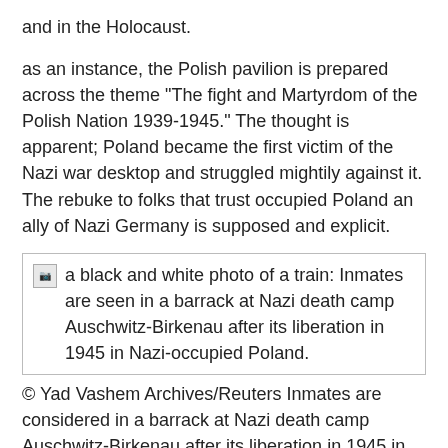and in the Holocaust.
as an instance, the Polish pavilion is prepared across the theme "The fight and Martyrdom of the Polish Nation 1939-1945." The thought is apparent; Poland became the first victim of the Nazi war desktop and struggled mightily against it. The rebuke to folks that trust occupied Poland an ally of Nazi Germany is supposed and explicit.
[Figure (photo): A black and white photo of a train: Inmates are seen in a barrack at Nazi death camp Auschwitz-Birkenau after its liberation in 1945 in Nazi-occupied Poland.]
© Yad Vashem Archives/Reuters Inmates are considered in a barrack at Nazi death camp Auschwitz-Birkenau after its liberation in 1945 in Nazi-occupied Poland.
among all of the country wide pavilions, the Russian is an exception. Its theme: "Tragedy. Valour. Liberation." the primary gets much less consideration than the latter two. The Russian pavilion commemorates the Russian Jews who perished in the Holocaust, however the center of attention actually is on two different elements of Auschwitz: the